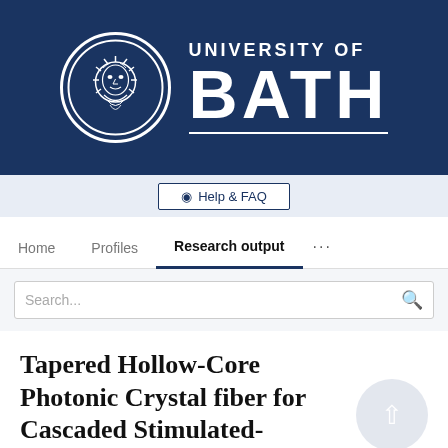[Figure (logo): University of Bath logo: circular emblem with face on dark blue background, with text UNIVERSITY OF BATH in white]
⊕ Help & FAQ
Home   Profiles   Research output   ...
Search...
Tapered Hollow-Core Photonic Crystal fiber for Cascaded Stimulated-Raman-Scattering
B Beaudou, Francois Couny, Y Y Wang, P S Light, F Benabid